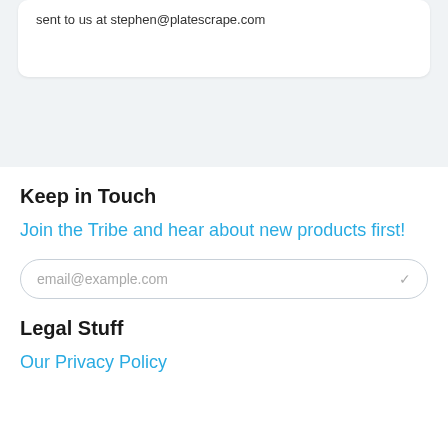sent to us at stephen@platescrape.com
Keep in Touch
Join the Tribe and hear about new products first!
email@example.com
Legal Stuff
Our Privacy Policy